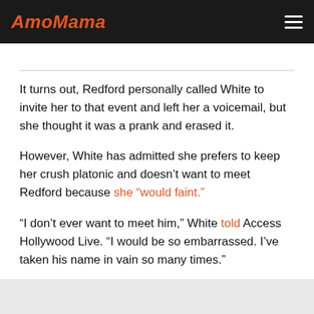AmoMama
It turns out, Redford personally called White to invite her to that event and left her a voicemail, but she thought it was a prank and erased it.
However, White has admitted she prefers to keep her crush platonic and doesn't want to meet Redford because she "would faint."
"I don't ever want to meet him," White told Access Hollywood Live. "I would be so embarrassed. I've taken his name in vain so many times."